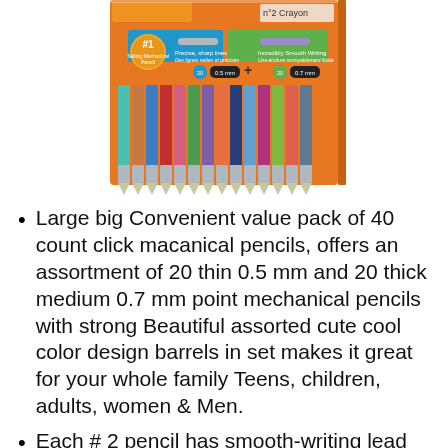[Figure (photo): Product photo of BIC mechanical pencils set in orange packaging, showing colorful pencils arranged side by side with labels indicating 20 pencils at 0.5mm and 20 pencils at 0.7mm, with #1 badge and text about precise sharp lines and incredibly smooth writing.]
Large big Convenient value pack of 40 count click macanical pencils, offers an assortment of 20 thin 0.5 mm and 20 thick medium 0.7 mm point mechanical pencils with strong Beautiful assorted cute cool color design barrels in set makes it great for your whole family Teens, children, adults, women & Men.
Each # 2 pencil has smooth-writing lead that advances easily does not